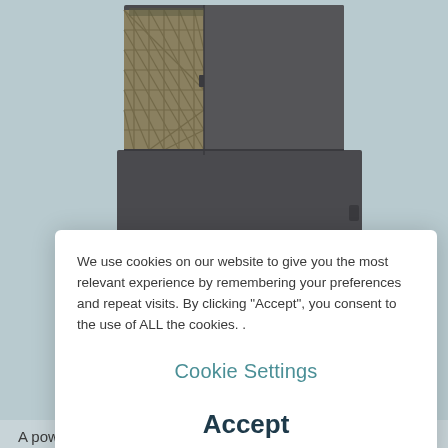[Figure (photo): HVAC air cleaner unit, dark grey cabinet with diamond-pattern mesh filter panels on the front, shown at an angle against a light blue-grey background]
We use cookies on our website to give you the most relevant experience by remembering your preferences and repeat visits. By clicking “Accept”, you consent to the use of ALL the cookies. .
Cookie Settings
Accept
A powerful air cleaner for large scale jobs